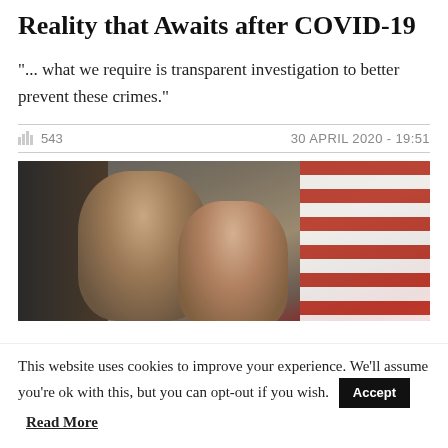Reality that Awaits after COVID-19
"... what we require is transparent investigation to better prevent these crimes."
543  30 APRIL 2020 - 19:51
[Figure (photo): Two people in formal attire, an American flag visible in the background]
This website uses cookies to improve your experience. We'll assume you're ok with this, but you can opt-out if you wish. Accept  Read More